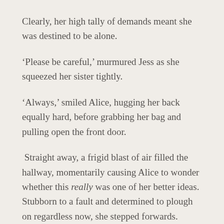Clearly, her high tally of demands meant she was destined to be alone.
‘Please be careful,’ murmured Jess as she squeezed her sister tightly.
‘Always,’ smiled Alice, hugging her back equally hard, before grabbing her bag and pulling open the front door.
Straight away, a frigid blast of air filled the hallway, momentarily causing Alice to wonder whether this really was one of her better ideas.  Stubborn to a fault and determined to plough on regardless now, she stepped forwards.  Sinking marginally into the deep snow, her actions caused a crunching noise beneath her boots which was surprisingly satisfying